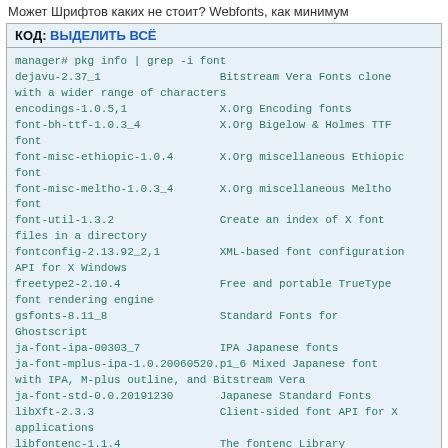Может Шрифтов каких не стоит? Webfonts, как минимум
КОД: ВЫДЕЛИТЬ ВСЁ
manager# pkg info | grep -i font
dejavu-2.37_1                  Bitstream Vera Fonts clone with a wider range of characters
encodings-1.0.5,1              X.Org Encoding fonts
font-bh-ttf-1.0.3_4            X.Org Bigelow & Holmes TTF font
font-misc-ethiopic-1.0.4       X.Org miscellaneous Ethiopic font
font-misc-meltho-1.0.3_4       X.Org miscellaneous Meltho font
font-util-1.3.2                Create an index of X font files in a directory
fontconfig-2.13.92_2,1         XML-based font configuration API for X Windows
freetype2-2.10.4               Free and portable TrueType font rendering engine
gsfonts-8.11_8                 Standard Fonts for Ghostscript
ja-font-ipa-00303_7            IPA Japanese fonts
ja-font-mplus-ipa-1.0.20060520.p1_6 Mixed Japanese font with IPA, M-plus outline, and Bitstream Vera
ja-font-std-0.0.20191230       Japanese Standard Fonts
libXft-2.3.3                   Client-sided font API for X applications
libfontenc-1.1.4               The fontenc Library
mkfontscale-1.2.1              Creates an index of scalable font files for X